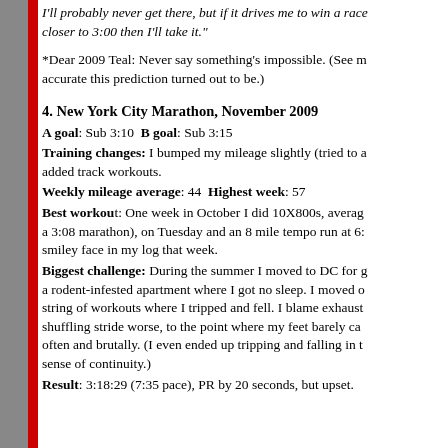I'll probably never get there, but if it drives me to win a race closer to 3:00 then I'll take it."
*Dear 2009 Teal: Never say something's impossible. (See m accurate this prediction turned out to be.)
4. New York City Marathon, November 2009
A goal: Sub 3:10 B goal: Sub 3:15
Training changes: I bumped my mileage slightly (tried to a added track workouts.
Weekly mileage average: 44 Highest week: 57
Best workout: One week in October I did 10X800s, averag a 3:08 marathon), on Tuesday and an 8 mile tempo run at 6: smiley face in my log that week.
Biggest challenge: During the summer I moved to DC for g a rodent-infested apartment where I got no sleep. I moved o string of workouts where I tripped and fell. I blame exhaust shuffling stride worse, to the point where my feet barely ca often and brutally. (I even ended up tripping and falling in t sense of continuity.)
Result: 3:18:29 (7:35 pace), PR by 20 seconds, but upset.